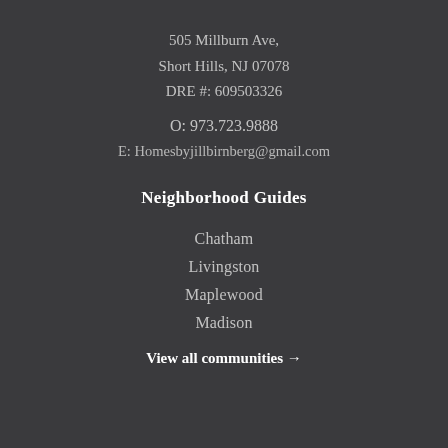505 Millburn Ave,
Short Hills, NJ 07078
DRE #: 609503326
O: 973.723.9888
E: Homesbyjillbirnberg@gmail.com
Neighborhood Guides
Chatham
Livingston
Maplewood
Madison
View all communities →